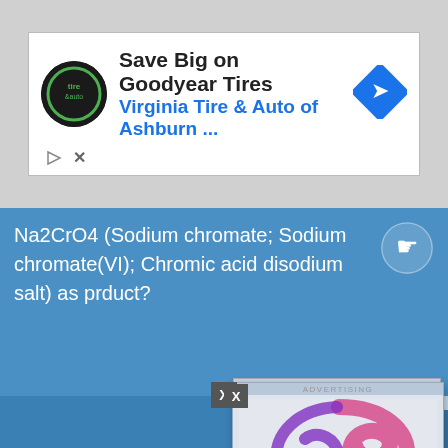[Figure (screenshot): Advertisement banner for Virginia Tire & Auto of Ashburn featuring Goodyear Tires with logo and diamond navigation icon]
Na2CrO4 (Sodium chromate; Sodium chromate(VI); Chromic acid disodium salt) as prduct?
Questions related to product Na2Cr2O7 (Sodium dichromate; Sodium bichromate; Dichromic acid disodium salt)
What are the chemical and physical characteristic of Na2Cr2O7 (Sodium dichromate; Sodium bichromate; Dichromic acid disodium salt)?
[Figure (logo): Ureka Media advertising overlay with pink/purple spiral logo and Xem Them button]